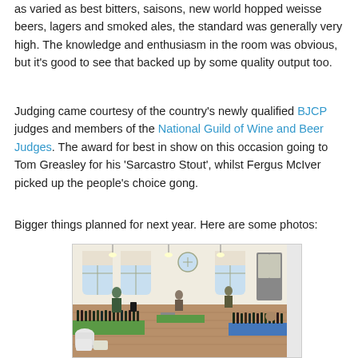as varied as best bitters, saisons, new world hopped weisse beers, lagers and smoked ales, the standard was generally very high. The knowledge and enthusiasm in the room was obvious, but it's good to see that backed up by some quality output too.
Judging came courtesy of the country's newly qualified BJCP judges and members of the National Guild of Wine and Beer Judges. The award for best in show on this occasion going to Tom Greasley for his 'Sarcastro Stout', whilst Fergus McIver picked up the people's choice gong.
Bigger things planned for next year. Here are some photos:
[Figure (photo): Interior of a large hall with tall arched windows. Tables with green and blue coverings hold many bottles of beer arranged for judging. People are visible in the background.]